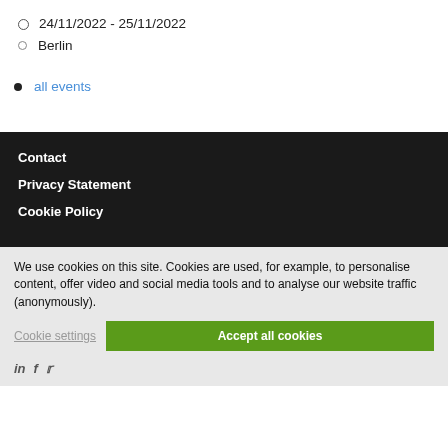24/11/2022 - 25/11/2022
Berlin
all events
Contact
Privacy Statement
Cookie Policy
We use cookies on this site. Cookies are used, for example, to personalise content, offer video and social media tools and to analyse our website traffic (anonymously).
Cookie settings | Accept all cookies